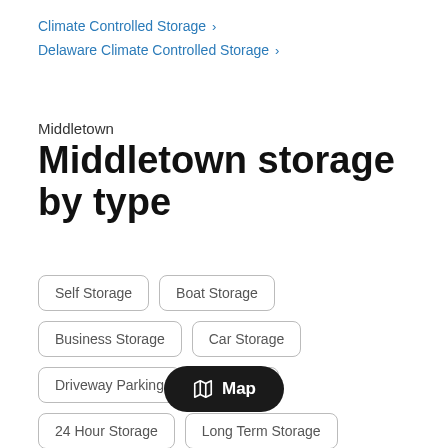Climate Controlled Storage >
Delaware Climate Controlled Storage >
Middletown
Middletown storage by type
Self Storage
Boat Storage
Business Storage
Car Storage
Driveway Parking
Garages
24 Hour Storage
Long Term Storage
Long Term Parking
Monthly Parking
Parking Spaces
RV Storage
Map